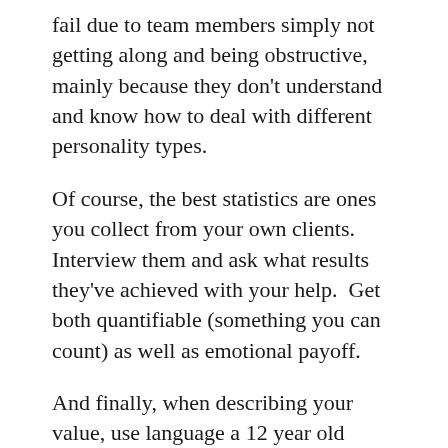fail due to team members simply not getting along and being obstructive, mainly because they don't understand and know how to deal with different personality types.
Of course, the best statistics are ones you collect from your own clients.  Interview them and ask what results they've achieved with your help.  Get both quantifiable (something you can count) as well as emotional payoff.
And finally, when describing your value, use language a 12 year old would recognise.  Make it as sensory specific as possible.
Wrapping up, interviewing your clients on a regular basis is one of the most important things